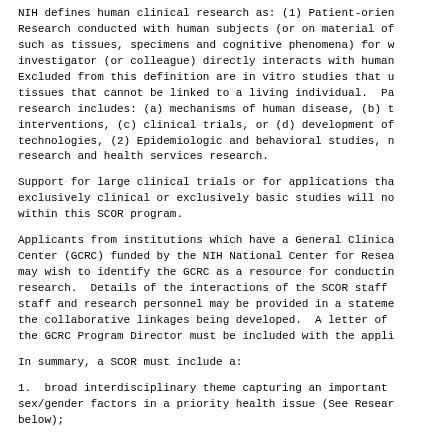NIH defines human clinical research as: (1) Patient-orien Research conducted with human subjects (or on material of such as tissues, specimens and cognitive phenomena) for w investigator (or colleague) directly interacts with human Excluded from this definition are in vitro studies that u tissues that cannot be linked to a living individual. Pa research includes: (a) mechanisms of human disease, (b) t interventions, (c) clinical trials, or (d) development of technologies, (2) Epidemiologic and behavioral studies, n research and health services research.
Support for large clinical trials or for applications tha exclusively clinical or exclusively basic studies will no within this SCOR program.
Applicants from institutions which have a General Clinica Center (GCRC) funded by the NIH National Center for Resea may wish to identify the GCRC as a resource for conductin research.  Details of the interactions of the SCOR staff staff and research personnel may be provided in a stateme the collaborative linkages being developed.  A letter of the GCRC Program Director must be included with the appli
In summary, a SCOR must include a:
1.  broad interdisciplinary theme capturing an important sex/gender factors in a priority health issue (See Resear below);